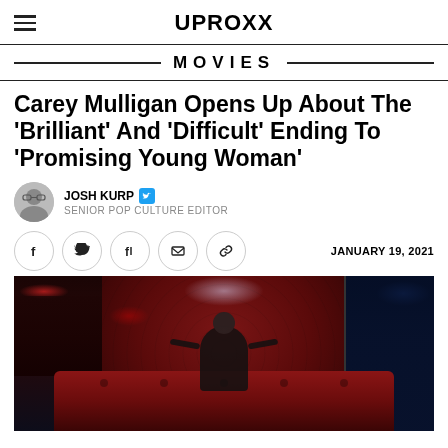UPROXX
MOVIES
Carey Mulligan Opens Up About The 'Brilliant' And 'Difficult' Ending To 'Promising Young Woman'
JOSH KURP — SENIOR POP CULTURE EDITOR
JANUARY 19, 2021
[Figure (photo): Scene from Promising Young Woman showing a figure seated on a red tufted sofa/booth in a nightclub setting, with dark lighting, red and blue accent lights, flanked by darker panels on either side.]